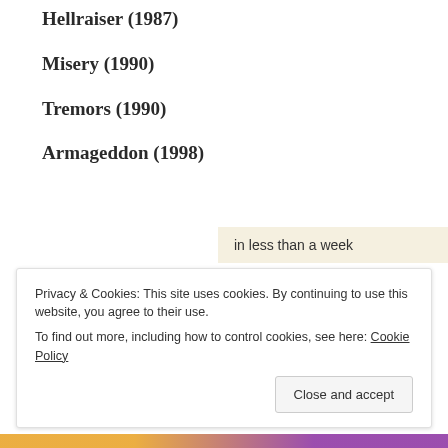Hellraiser (1987)
Misery (1990)
Tremors (1990)
Armageddon (1998)
in less than a week
Privacy & Cookies: This site uses cookies. By continuing to use this website, you agree to their use.
To find out more, including how to control cookies, see here: Cookie Policy
Close and accept